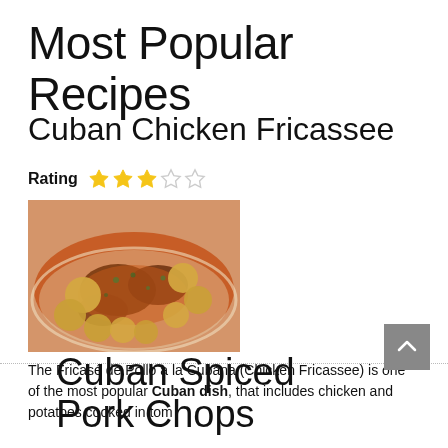Most Popular Recipes
Cuban Chicken Fricassee
Rating ★★★☆☆
[Figure (photo): Photo of Cuban Chicken Fricassee — chicken pieces and small potatoes in an orange-red tomato sauce on a white plate]
The Fricasé de Pollo a la Cubana (Chicken Fricassee) is one of the most popular Cuban dish, that includes chicken and potatoes cooked in tom
Cuban Spiced Pork Chops